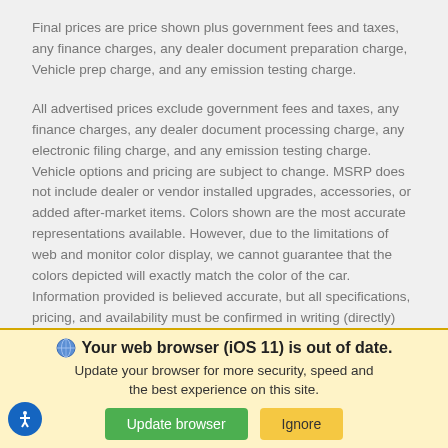Final prices are price shown plus government fees and taxes, any finance charges, any dealer document preparation charge, Vehicle prep charge, and any emission testing charge.
All advertised prices exclude government fees and taxes, any finance charges, any dealer document processing charge, any electronic filing charge, and any emission testing charge. Vehicle options and pricing are subject to change. MSRP does not include dealer or vendor installed upgrades, accessories, or added after-market items. Colors shown are the most accurate representations available. However, due to the limitations of web and monitor color display, we cannot guarantee that the colors depicted will exactly match the color of the car. Information provided is believed accurate, but all specifications, pricing, and availability must be confirmed in writing (directly) with the dealer to be binding. Sale Price cannot be combined with 0% APR. Neither the Dealer nor Fox Dealer Interactive is responsible for any inaccuracies contained
Your web browser (iOS 11) is out of date. Update your browser for more security, speed and the best experience on this site.